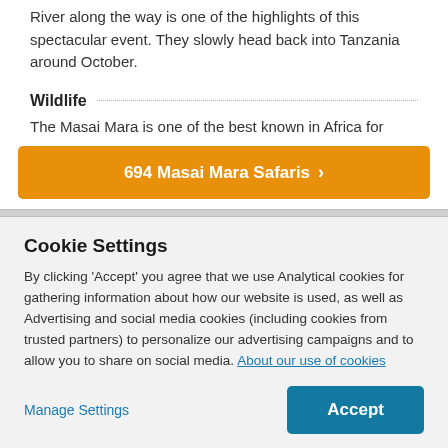River along the way is one of the highlights of this spectacular event. They slowly head back into Tanzania around October.
Wildlife
The Masai Mara is one of the best known in Africa for...
694 Masai Mara Safaris ›
Cookie Settings
By clicking 'Accept' you agree that we use Analytical cookies for gathering information about how our website is used, as well as Advertising and social media cookies (including cookies from trusted partners) to personalize our advertising campaigns and to allow you to share on social media. About our use of cookies
Manage Settings
Accept